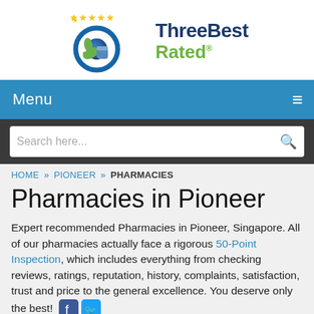[Figure (logo): ThreeBestRated logo with five gold stars, green thumbs-up hand, circular blue badge, and text 'ThreeBest Rated' in dark blue and green]
Menu
Search here...
HOME » PIONEER » PHARMACIES
Pharmacies in Pioneer
Expert recommended Pharmacies in Pioneer, Singapore. All of our pharmacies actually face a rigorous 50-Point Inspection, which includes everything from checking reviews, ratings, reputation, history, complaints, satisfaction, trust and price to the general excellence. You deserve only the best!